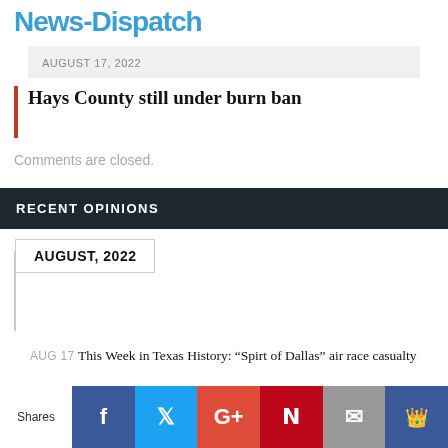News-Dispatch
AUGUST 17, 2022
Hays County still under burn ban
Comments are closed.
RECENT OPINIONS
AUGUST, 2022
AUG 17 This Week in Texas History: “Spirt of Dallas” air race casualty